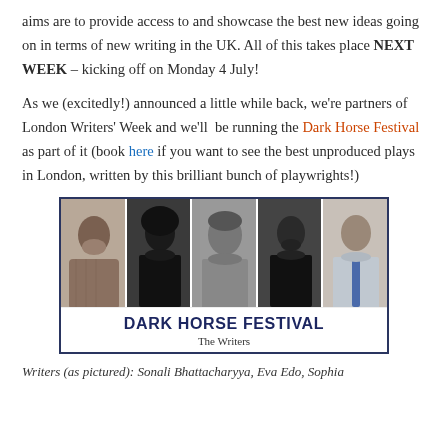aims are to provide access to and showcase the best new ideas going on in terms of new writing in the UK. All of this takes place NEXT WEEK – kicking off on Monday 4 July!
As we (excitedly!) announced a little while back, we're partners of London Writers' Week and we'll be running the Dark Horse Festival as part of it (book here if you want to see the best unproduced plays in London, written by this brilliant bunch of playwrights!)
[Figure (photo): Group photo strip of five writers for the Dark Horse Festival, with a dark blue border. Below the photos is a white banner reading 'DARK HORSE FESTIVAL' and 'The Writers'.]
Writers (as pictured): Sonali Bhattacharyya, Eva Edo, Sophia